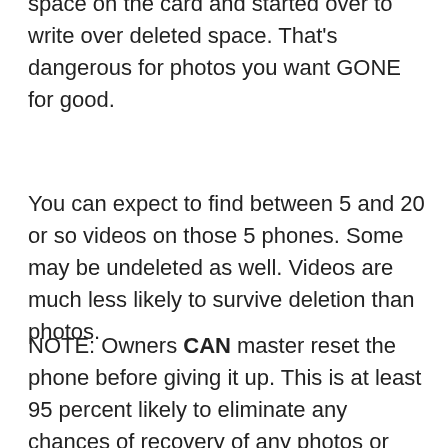space on the card and started over to write over deleted space. That's dangerous for photos you want GONE for good.
You can expect to find between 5 and 20 or so videos on those 5 phones. Some may be undeleted as well. Videos are much less likely to survive deletion than photos.
NOTE: Owners CAN master reset the phone before giving it up. This is at least 95 percent likely to eliminate any chances of recovery of any photos or videos from the phone.